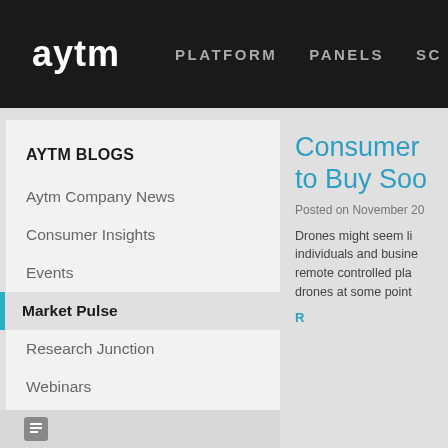aytm — PLATFORM   PANELS   SC...
AYTM BLOGS
Aytm Company News
Consumer Insights
Events
Market Pulse
Research Junction
Webinars
Consumer ... to Buy Soo...
Posted on November 20...
Drones might seem li... individuals and busine... remote controlled pla... drones at some point...